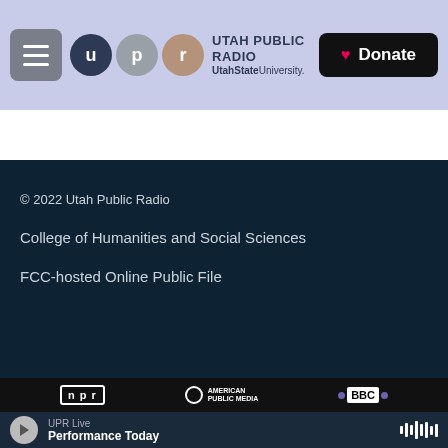Utah Public Radio — Utah State University
© 2022 Utah Public Radio
College of Humanities and Social Sciences
FCC-hosted Online Public File
[Figure (logo): NPR logo, American Public Media logo, BBC logo]
UPR Live — Performance Today